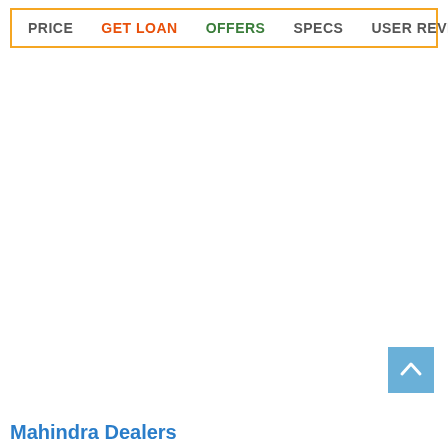PRICE  GET LOAN  OFFERS  SPECS  USER REVIEWS
[Figure (other): Scroll to top button - blue square with upward chevron arrow icon]
Mahindra Dealers